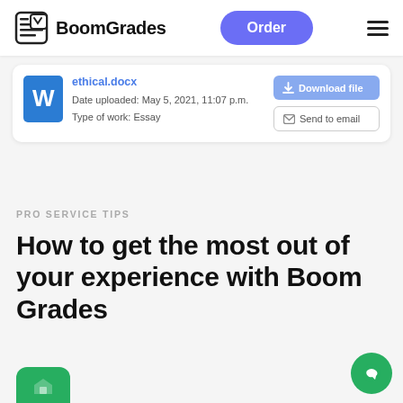BoomGrades
[Figure (screenshot): File download card showing ethical.docx with date uploaded May 5, 2021, 11:07 p.m., Type of work: Essay, with Download file and Send to email buttons]
PRO SERVICE TIPS
How to get the most out of your experience with Boom Grades